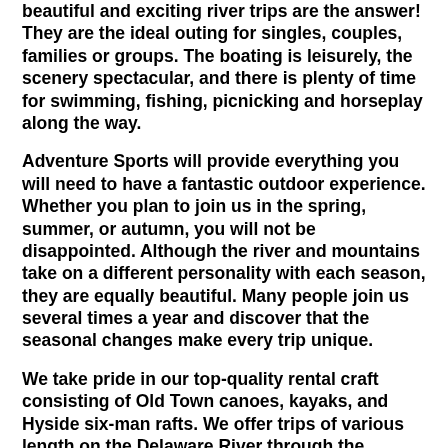beautiful and exciting river trips are the answer! They are the ideal outing for singles, couples, families or groups. The boating is leisurely, the scenery spectacular, and there is plenty of time for swimming, fishing, picnicking and horseplay along the way.
Adventure Sports will provide everything you will need to have a fantastic outdoor experience. Whether you plan to join us in the spring, summer, or autumn, you will not be disappointed. Although the river and mountains take on a different personality with each season, they are equally beautiful. Many people join us several times a year and discover that the seasonal changes make every trip unique.
We take pride in our top-quality rental craft consisting of Old Town canoes, kayaks, and Hyside six-man rafts. We offer trips of various length on the Delaware River through the beautiful Delaware Water Gap National Recreation Area.